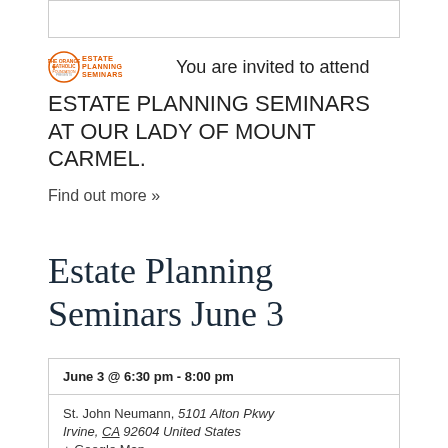[Figure (logo): The Orange Catholic Foundation presents Estate Planning Seminars logo — circular emblem with cross and orange text reading ESTATE PLANNING SEMINARS]
You are invited to attend ESTATE PLANNING SEMINARS AT OUR LADY OF MOUNT CARMEL.
Find out more »
Estate Planning Seminars June 3
June 3 @ 6:30 pm - 8:00 pm
St. John Neumann, 5101 Alton Pkwy Irvine, CA 92604 United States + Google Map